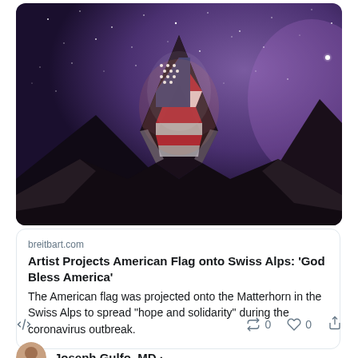[Figure (photo): Night sky photo of the Matterhorn mountain in the Swiss Alps with an American flag projected onto it, purple starry sky background]
breitbart.com
Artist Projects American Flag onto Swiss Alps: 'God Bless America'
The American flag was projected onto the Matterhorn in the Swiss Alps to spread "hope and solidarity" during the coronavirus outbreak.
Joseph Gulfo, MD ·